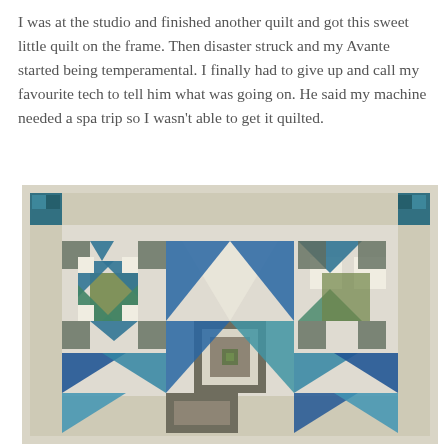I was at the studio and finished another quilt and got this sweet little quilt on the frame. Then disaster struck and my Avante started being temperamental. I finally had to give up and call my favourite tech to tell him what was going on. He said my machine needed a spa trip so I wasn't able to get it quilted.
[Figure (photo): A quilt laid on a frame showing a geometric star/house pattern made with blue, green, teal and cream/beige batik fabrics. The quilt features triangles, squares and a central medallion block with a small green square center surrounded by grey and cream pieced borders.]